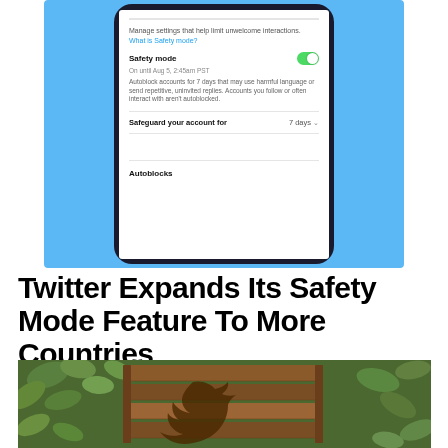[Figure (screenshot): Screenshot of Twitter Safety Mode settings screen on a smartphone, showing a toggle switched on (green), text about autoblocking accounts for 7 days, 'Safeguard your account for 7 days' option, and 'Autoblocks' section header. Phone is displayed against a blue background.]
Twitter Expands Its Safety Mode Feature To More Countries
[Figure (photo): Photo of a wooden Twitter bird logo sculpture surrounded by green leafy plants/vines.]